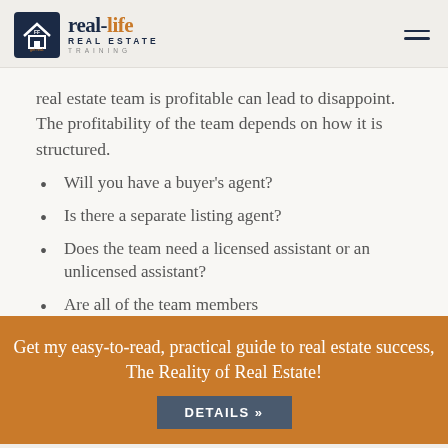real-life REAL ESTATE TRAINING
real estate team is profitable can lead to disappoint. The profitability of the team depends on how it is structured.
Will you have a buyer's agent?
Is there a separate listing agent?
Does the team need a licensed assistant or an unlicensed assistant?
Are all of the team members
Get my easy-to-read, practical guide to real estate success, The Reality of Real Estate!
DETAILS »